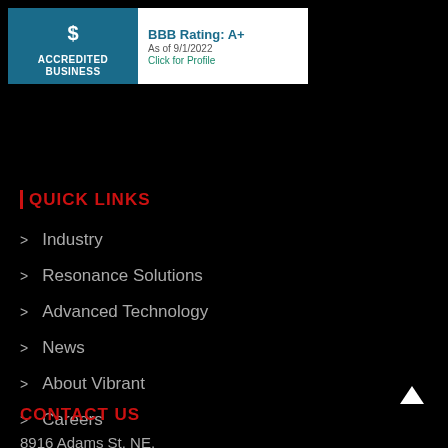[Figure (logo): BBB Accredited Business badge with A+ rating as of 9/1/2022]
QUICK LINKS
Industry
Resonance Solutions
Advanced Technology
News
About Vibrant
Careers
CONTACT US
8916 Adams St. NE, Albuquerque, NM 87113